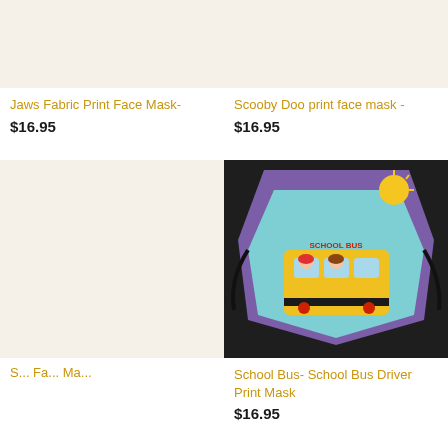[Figure (photo): Product image placeholder for Jaws Fabric Print Face Mask - beige/cream background]
Jaws Fabric Print Face Mask-
$16.95
[Figure (photo): Product image placeholder for Scooby Doo print face mask - beige/cream background]
Scooby Doo print face mask -
$16.95
[Figure (photo): Product image placeholder - beige/cream background for unnamed product]
S... Fa... Ma...
[Figure (photo): Photo of a school bus themed fabric face mask with cartoon children on a yellow school bus, dark background]
School Bus- School Bus Driver Print Mask
$16.95